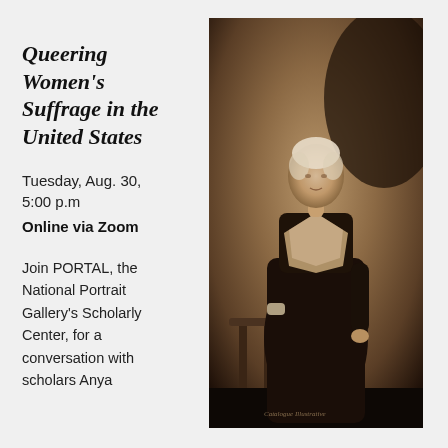Queering Women's Suffrage in the United States
Tuesday, Aug. 30, 5:00 p.m
Online via Zoom
[Figure (photo): Sepia-toned vintage portrait photograph of a woman in early 20th century dress standing beside a small table, wearing a dark dress with lace collar, white hair pinned up.]
Join PORTAL, the National Portrait Gallery's Scholarly Center, for a conversation with scholars Anya